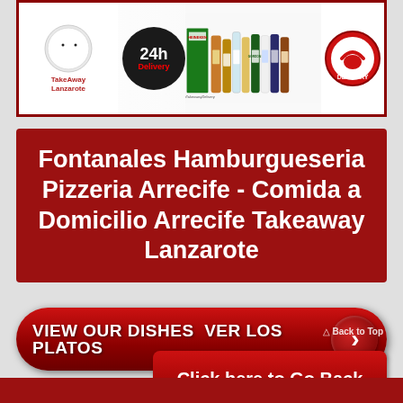[Figure (photo): TakeAway Lanzarote 24h Delivery banner with logo, alcohol bottles, and delivery logo]
Fontanales Hamburgueseria Pizzeria Arrecife - Comida a Domicilio Arrecife Takeaway Lanzarote
Click here to Go Back
VIEW OUR DISHES  VER LOS PLATOS